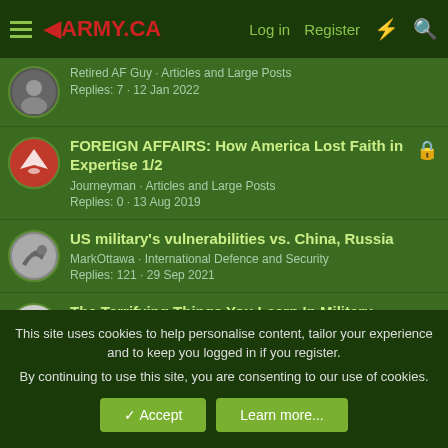ARMY.CA — Log in | Register
Retired AF Guy · Articles and Large Posts
Replies: 7 · 12 Jan 2022
FOREIGN AFFAIRS: How America Lost Faith in Expertise 1/2
Journeyman · Articles and Large Posts
Replies: 0 · 13 Aug 2019
US military's vulnerabilities vs. China, Russia
MarkOttawa · International Defence and Security
Replies: 121 · 29 Sep 2021
The Terrifying Things You Learn In Military Intelligence
This site uses cookies to help personalise content, tailor your experience and to keep you logged in if you register.
By continuing to use this site, you are consenting to our use of cookies.